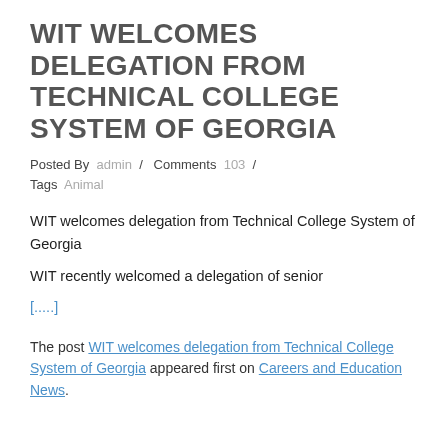WIT WELCOMES DELEGATION FROM TECHNICAL COLLEGE SYSTEM OF GEORGIA
Posted By admin / Comments 103 / Tags Animal
WIT welcomes delegation from Technical College System of Georgia
WIT recently welcomed a delegation of senior
[.....]
The post WIT welcomes delegation from Technical College System of Georgia appeared first on Careers and Education News.